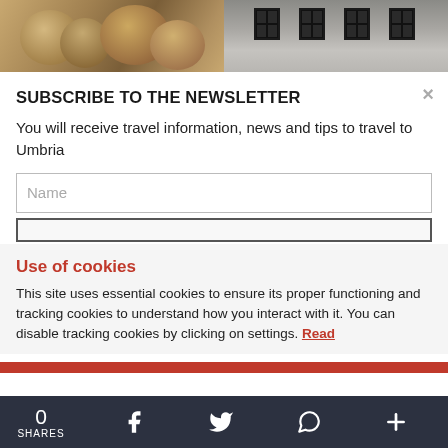[Figure (photo): Two partial images at the top: left shows rounded stone/bread objects with warm brown tones; right shows a stone building facade with dark windows.]
SUBSCRIBE TO THE NEWSLETTER
You will receive travel information, news and tips to travel to Umbria
Name (input field placeholder)
Use of cookies
This site uses essential cookies to ensure its proper functioning and tracking cookies to understand how you interact with it. You can disable tracking cookies by clicking on settings. Read
0 SHARES  [Facebook] [Twitter] [WhatsApp] [+]